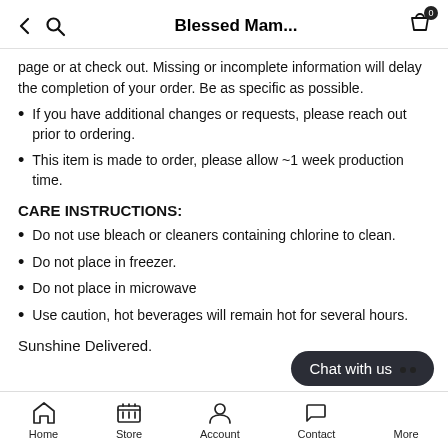Blessed Mam...
page or at check out. Missing or incomplete information will delay the completion of your order. Be as specific as possible.
If you have additional changes or requests, please reach out prior to ordering.
This item is made to order, please allow ~1 week production time.
CARE INSTRUCTIONS:
Do not use bleach or cleaners containing chlorine to clean.
Do not place in freezer.
Do not place in microwave
Use caution, hot beverages will remain hot for several hours.
Sunshine Delivered.
Home  Store  Account  Contact  More